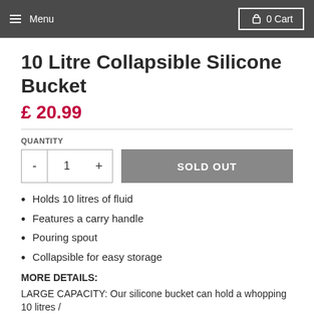Menu  0 Cart
10 Litre Collapsible Silicone Bucket
£ 20.99
QUANTITY
- 1 +  SOLD OUT
Holds 10 litres of fluid
Features a carry handle
Pouring spout
Collapsible for easy storage
MORE DETAILS:
LARGE CAPACITY: Our silicone bucket can hold a whopping 10 litres /